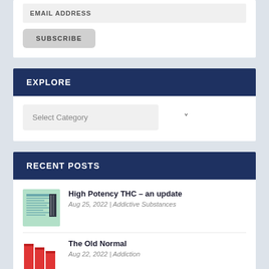EMAIL ADDRESS
SUBSCRIBE
EXPLORE
Select Category
RECENT POSTS
[Figure (illustration): Thumbnail image for High Potency THC article, showing a document with text lines on green background with dark barcode-like element]
High Potency THC – an update
Aug 25, 2022 | Addictive Substances
[Figure (illustration): Thumbnail image for The Old Normal article, showing red bar chart-like illustration on white background]
The Old Normal
Aug 22, 2022 | Addiction